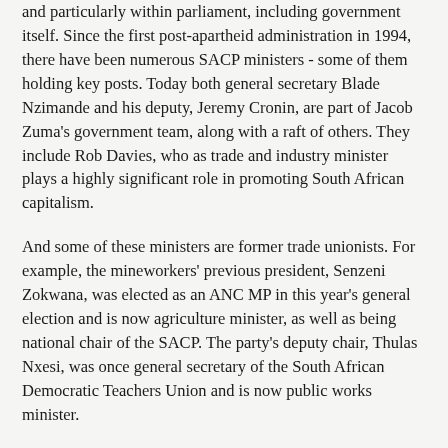and particularly within parliament, including government itself. Since the first post-apartheid administration in 1994, there have been numerous SACP ministers - some of them holding key posts. Today both general secretary Blade Nzimande and his deputy, Jeremy Cronin, are part of Jacob Zuma's government team, along with a raft of others. They include Rob Davies, who as trade and industry minister plays a highly significant role in promoting South African capitalism.
And some of these ministers are former trade unionists. For example, the mineworkers' previous president, Senzeni Zokwana, was elected as an ANC MP in this year's general election and is now agriculture minister, as well as being national chair of the SACP. The party's deputy chair, Thulas Nxesi, was once general secretary of the South African Democratic Teachers Union and is now public works minister.
As socialist journalist Terry Bell explains,
Since parliament is obviously ... a “key site of power and influence”, it is not surprising ... that the SACP is disproportionately represented among ANC MPs. This,